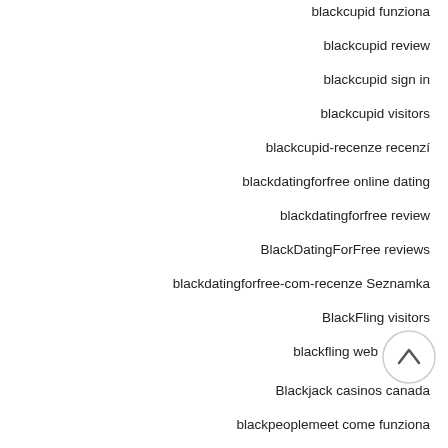blackcupid funziona
blackcupid review
blackcupid sign in
blackcupid visitors
blackcupid-recenze recenzí
blackdatingforfree online dating
blackdatingforfree review
BlackDatingForFree reviews
blackdatingforfree-com-recenze Seznamka
BlackFling visitors
blackfling web
Blackjack casinos canada
blackpeoplemeet come funziona